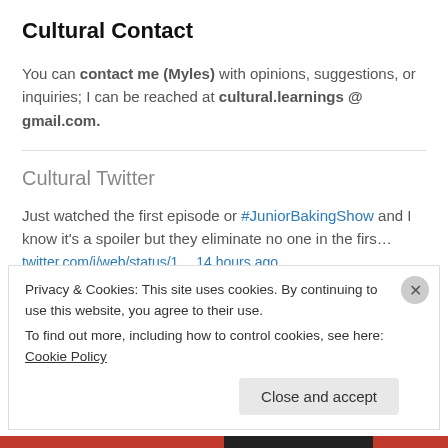Cultural Contact
You can contact me (Myles) with opinions, suggestions, or inquiries; I can be reached at cultural.learnings @ gmail.com.
Cultural Twitter
Just watched the first episode or #JuniorBakingShow and I know it’s a spoiler but they eliminate no one in the firs…
twitter.com/i/web/status/1… 14 hours ago
For those who waited until tonight, my take on the #HouseoftheDragon
Privacy & Cookies: This site uses cookies. By continuing to use this website, you agree to their use. To find out more, including how to control cookies, see here: Cookie Policy
Close and accept